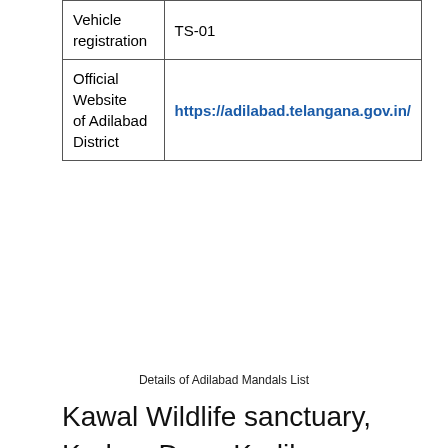| Vehicle registration | TS-01 |
| Official Website of Adilabad District | https://adilabad.telangana.gov.in/ |
Details of Adilabad Mandals List
Kawal Wildlife sanctuary, Kadem Dam, Kadile Papahareswara temple, Jainath Temple and Kalwa Narasimha Swamy temple are some of the popular destinations.